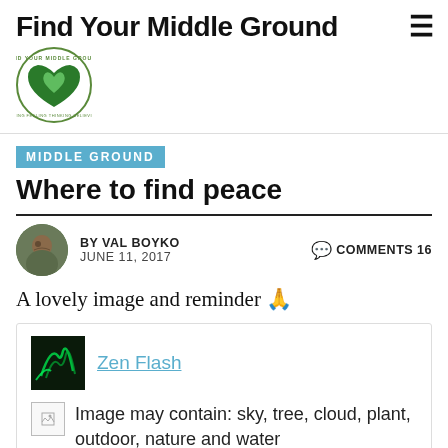Find Your Middle Ground
[Figure (logo): Find Your Middle Ground circular logo with green heart]
MIDDLE GROUND
Where to find peace
BY VAL BOYKO  JUNE 11, 2017  COMMENTS 16
A lovely image and reminder 🙏
Zen Flash
Image may contain: sky, tree, cloud, plant, outdoor, nature and water